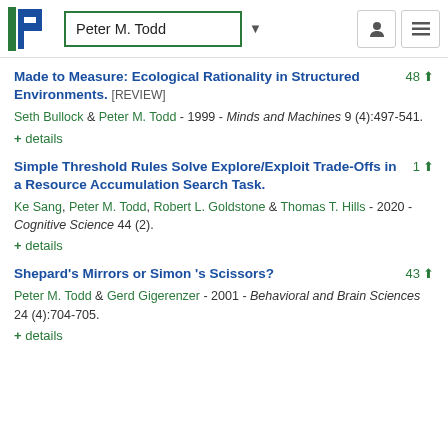Peter M. Todd
Made to Measure: Ecological Rationality in Structured Environments. [REVIEW]
Seth Bullock & Peter M. Todd - 1999 - Minds and Machines 9 (4):497-541.
+ details
Simple Threshold Rules Solve Explore/Exploit Trade-Offs in a Resource Accumulation Search Task.
Ke Sang, Peter M. Todd, Robert L. Goldstone & Thomas T. Hills - 2020 - Cognitive Science 44 (2).
+ details
Shepard's Mirrors or Simon 's Scissors?
Peter M. Todd & Gerd Gigerenzer - 2001 - Behavioral and Brain Sciences 24 (4):704-705.
+ details